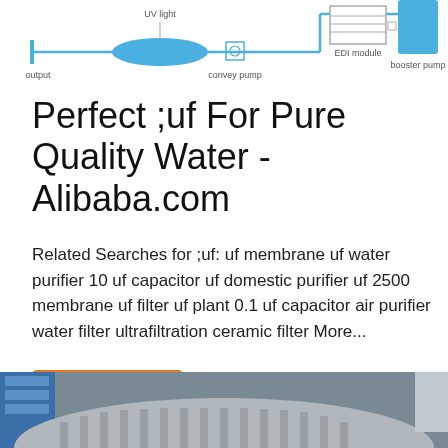[Figure (schematic): Water purification system diagram showing UV light module, convey pump, output, EDI module, and booster pump connected by pipes. Components in blue and grey.]
Perfect ;uf For Pure Quality Water - Alibaba.com
Related Searches for ;uf: uf membrane uf water purifier 10 uf capacitor uf domestic purifier uf 2500 membrane uf filter uf plant 0.1 uf capacitor air purifier water filter ultrafiltration ceramic filter More...
Get Price
[Figure (photo): Photo of industrial water filtration equipment, showing a large circular metal filter/membrane unit with striped pattern, blue industrial tanks in background.]